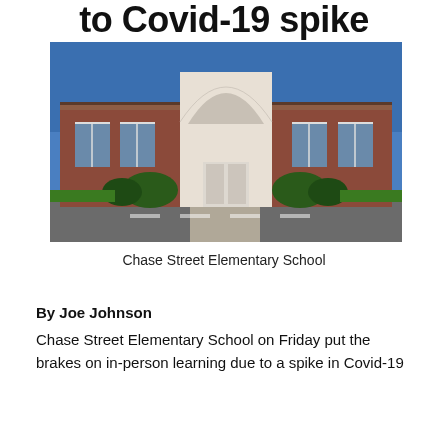to Covid-19 spike
[Figure (photo): Exterior photo of Chase Street Elementary School, a red brick building with a prominent white arched entrance, under a clear blue sky.]
Chase Street Elementary School
By Joe Johnson
Chase Street Elementary School on Friday put the brakes on in-person learning due to a spike in Covid-19